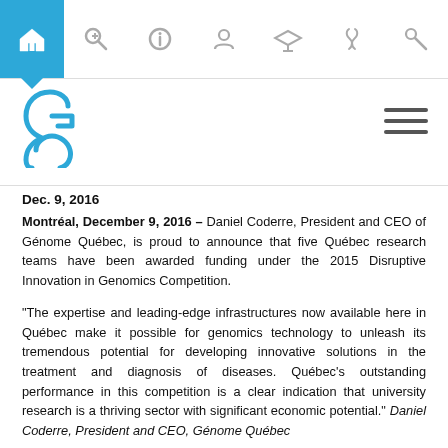Navigation bar with home icon (active/highlighted in blue), search, info, user, graduation cap, DNA, and search icons
[Figure (logo): Génome Québec logo — stylized blue double-helix/G shape]
Dec. 9, 2016
Montréal, December 9, 2016 – Daniel Coderre, President and CEO of Génome Québec, is proud to announce that five Québec research teams have been awarded funding under the 2015 Disruptive Innovation in Genomics Competition.
"The expertise and leading-edge infrastructures now available here in Québec make it possible for genomics technology to unleash its tremendous potential for developing innovative solutions in the treatment and diagnosis of diseases. Québec's outstanding performance in this competition is a clear indication that university research is a thriving sector with significant economic potential." Daniel Coderre, President and CEO, Génome Québec
More details